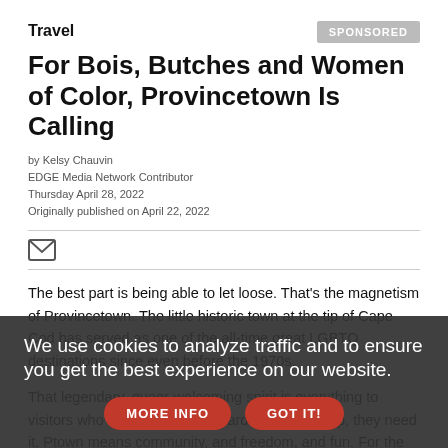Travel
For Bois, Butches and Women of Color, Provincetown Is Calling
by Kelsy Chauvin
EDGE Media Network Contributor
Thursday April 28, 2022
Originally published on April 22, 2022
The best part is being able to let loose. That's the magnetism of Provincetown. The little historic town at the tip of Cape Cod has served as one of the all-time great LGBTQ destinations since even before the 1970s.
That legendary, queer-welcoming spirit is everything to visitors who don't just look forward to a Ptown trip, they need it. Ptown means community, and freedom, and fun. For the spectrum of LGBTQ visitors, the town puts on theme weeks, and weekends that dive even... Transgender Week, and the rest: Carnival, Girl Splash, Single Women's Weekend, and more.
We use cookies to analyze traffic and to ensure you get the best experience on our website.